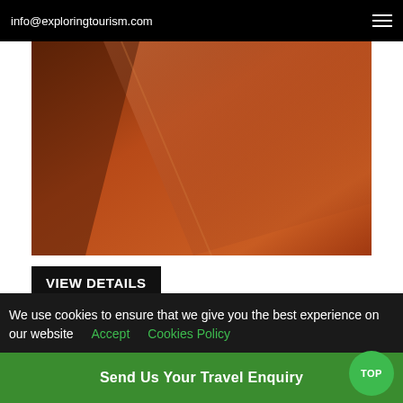info@exploringtourism.com
[Figure (photo): Close-up photo of a reddish-brown angular surface, likely wood or a door, with diagonal geometry and warm orange-brown tones.]
VIEW DETAILS
Price Per Person
We use cookies to ensure that we give you the best experience on our website   Accept   Cookies Policy
Send Us Your Travel Enquiry
TOP